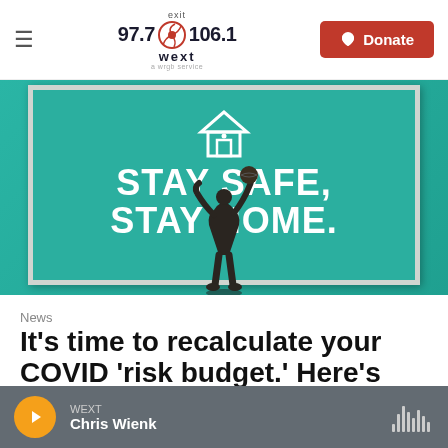exit 97.7 106.1 wext — Donate
[Figure (photo): A teal/green billboard reading 'STAY SAFE, STAY HOME.' with a house icon, and a basketball player statue in the foreground.]
News
It's time to recalculate your COVID 'risk budget.' Here's how
WEXT — Chris Wienk (audio player bar)